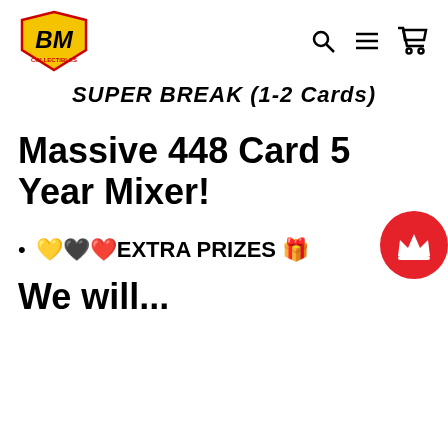[Figure (logo): BM Collectibles logo — yellow and red shield with BM letters and lightning bolt]
[Figure (other): Navigation icons: search (magnifying glass), hamburger menu, shopping cart]
SUPER BREAK (1-2 Cards)
Massive 448 Card 5 Year Mixer!
🧡🖤❤️EXTRA PRIZES 🎁
We will...